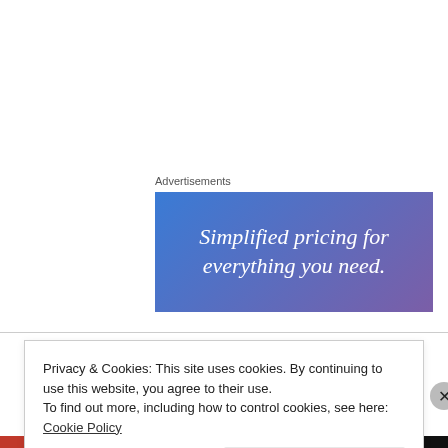Advertisements
[Figure (illustration): Advertisement banner with blue-to-purple gradient background and white italic text reading 'Simplified pricing for everything you need.']
Carl Scott on June 16, 2011 at 9:44 pm
God! I can SO relate to this. Thank you for sharing.
Privacy & Cookies: This site uses cookies. By continuing to use this website, you agree to their use.
To find out more, including how to control cookies, see here: Cookie Policy
Close and accept